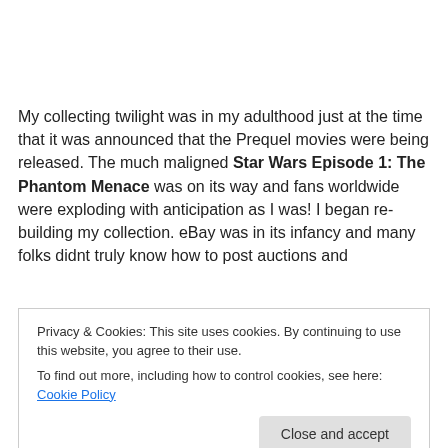My collecting twilight was in my adulthood just at the time that it was announced that the Prequel movies were being released. The much maligned Star Wars Episode 1: The Phantom Menace was on its way and fans worldwide were exploding with anticipation as I was! I began re-building my collection. eBay was in its infancy and many folks didnt truly know how to post auctions and
Privacy & Cookies: This site uses cookies. By continuing to use this website, you agree to their use. To find out more, including how to control cookies, see here: Cookie Policy